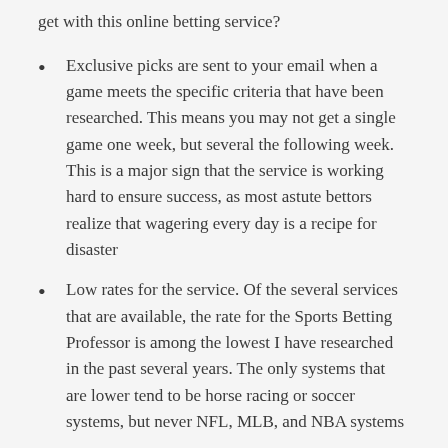get with this online betting service?
Exclusive picks are sent to your email when a game meets the specific criteria that have been researched. This means you may not get a single game one week, but several the following week. This is a major sign that the service is working hard to ensure success, as most astute bettors realize that wagering every day is a recipe for disaster
Low rates for the service. Of the several services that are available, the rate for the Sports Betting Professor is among the lowest I have researched in the past several years. The only systems that are lower tend to be horse racing or soccer systems, but never NFL, MLB, and NBA systems